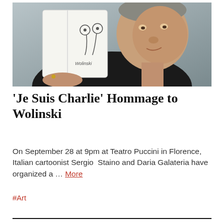[Figure (photo): An elderly man in a black jacket holding up an open notebook showing a hand-drawn cartoon sketch signed 'Wolinski'. The man is smiling slightly at the camera.]
'Je Suis Charlie' Hommage to Wolinski
On September 28 at 9pm at Teatro Puccini in Florence, Italian cartoonist Sergio Staino and Daria Galateria have organized a … More
#Art